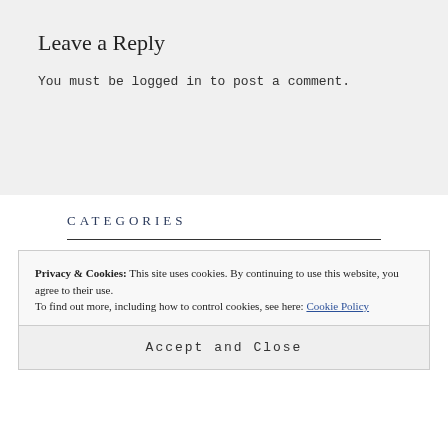Leave a Reply
You must be logged in to post a comment.
CATEGORIES
Privacy & Cookies: This site uses cookies. By continuing to use this website, you agree to their use.
To find out more, including how to control cookies, see here: Cookie Policy
Accept and Close
Feminism